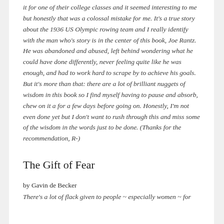it for one of their college classes and it seemed interesting to me but honestly that was a colossal mistake for me. It's a true story about the 1936 US Olympic rowing team and I really identify with the man who's story is in the center of this book, Joe Rantz. He was abandoned and abused, left behind wondering what he could have done differently, never feeling quite like he was enough, and had to work hard to scrape by to achieve his goals. But it's more than that: there are a lot of brilliant nuggets of wisdom in this book so I find myself having to pause and absorb, chew on it a for a few days before going on. Honestly, I'm not even done yet but I don't want to rush through this and miss some of the wisdom in the words just to be done. (Thanks for the recommendation, R-)
The Gift of Fear
by Gavin de Becker
There's a lot of flack given to people ~ especially women ~ for